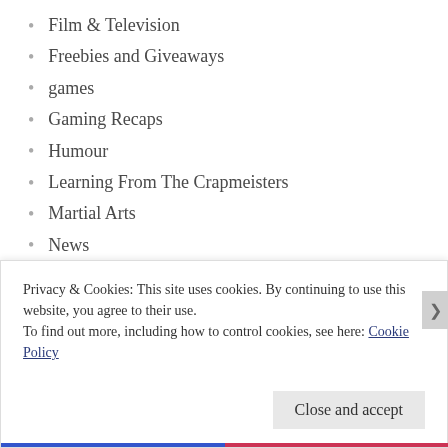Film & Television
Freebies and Giveaways
games
Gaming Recaps
Humour
Learning From The Crapmeisters
Martial Arts
News
Night Beasts Series
promotion
random thoughts
Privacy & Cookies: This site uses cookies. By continuing to use this website, you agree to their use.
To find out more, including how to control cookies, see here: Cookie Policy
Close and accept